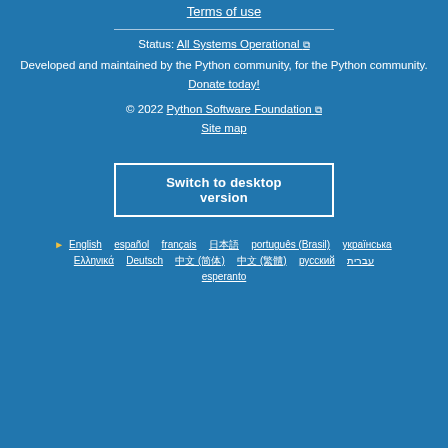Terms of use
Status: All Systems Operational
Developed and maintained by the Python community, for the Python community.
Donate today!
© 2022 Python Software Foundation
Site map
Switch to desktop version
English  español  français  日本語  português (Brasil)  українська  Ελληνικά  Deutsch  中文 (简体)  中文 (繁體)  русский  עברית  esperanto